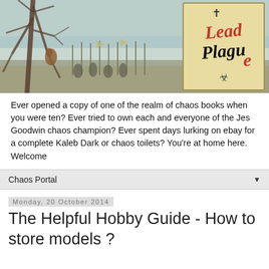[Figure (illustration): Fantasy battle scene banner with a skeletal tree on the left, warriors with spears and banners in the background, and a logo reading 'Lead Plague' with red lettering on a parchment-style background on the right side, with a biohazard symbol below the text.]
Ever opened a copy of one of the realm of chaos books when you were ten? Ever tried to own each and everyone of the Jes Goodwin chaos champion? Ever spent days lurking on ebay for a complete Kaleb Dark or chaos toilets? You're at home here. Welcome
Chaos Portal
Monday, 20 October 2014
The Helpful Hobby Guide - How to store models ?